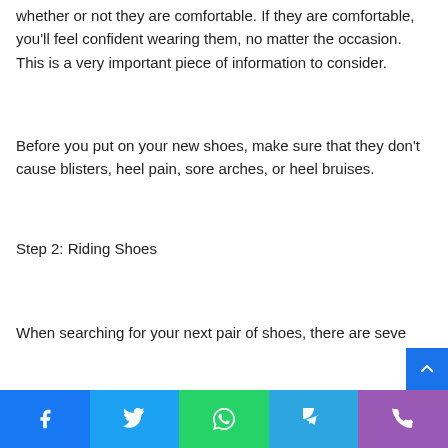whether or not they are comfortable. If they are comfortable, you'll feel confident wearing them, no matter the occasion. This is a very important piece of information to consider.
Before you put on your new shoes, make sure that they don't cause blisters, heel pain, sore arches, or heel bruises.
Step 2: Riding Shoes
When searching for your next pair of shoes, there are seve...
Social share bar: Facebook, Twitter, WhatsApp, Telegram, Phone